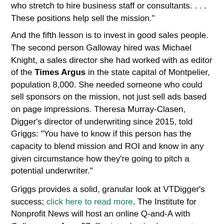who stretch to hire business staff or consultants. . . . These positions help sell the mission."
And the fifth lesson is to invest in good sales people. The second person Galloway hired was Michael Knight, a sales director she had worked with as editor of the Times Argus in the state capital of Montpelier, population 8,000. She needed someone who could sell sponsors on the mission, not just sell ads based on page impressions. Theresa Murray-Clasen, Digger's director of underwriting since 2015, told Griggs: "You have to know if this person has the capacity to blend mission and ROI and know in any given circumstance how they're going to pitch a potential underwriter."
Griggs provides a solid, granular look at VTDigger's success; click here to read more. The Institute for Nonprofit News will host an online Q-and-A with Galloway on June 27. Register for the free event here.
Heather Chapman Posted at 6/05/2018 11:06:00 AM
No comments: